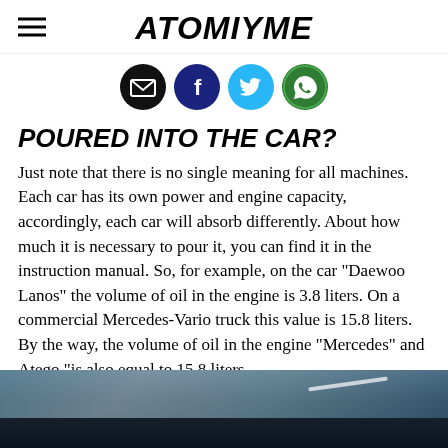ATOMIYME
[Figure (infographic): Social sharing icons: email (black circle), Facebook (dark blue circle), Twitter (light blue circle), WhatsApp (green circle)]
POURED INTO THE CAR?
Just note that there is no single meaning for all machines. Each car has its own power and engine capacity, accordingly, each car will absorb differently. About how much it is necessary to pour it, you can find it in the instruction manual. So, for example, on the car "Daewoo Lanos" the volume of oil in the engine is 3.8 liters. On a commercial Mercedes-Vario truck this value is 15.8 liters. By the way, the volume of oil in the engine "Mercedes" and Atego "is also equal to 15.8 liters.
[Figure (photo): Photo of a car interior/window area, dark tones with glass reflection visible]